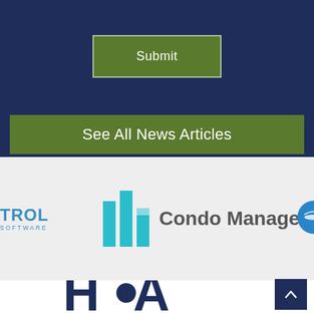[Figure (screenshot): Navy blue background section with a green Submit button centered in it]
See All News Articles
[Figure (logo): Logos carousel on light gray background: partial TROL SOFTWARE logo on left, Condo Manager logo with teal building icon in center, partial circular logo on right]
[Figure (logo): HOA logo partially visible at bottom center]
[Figure (other): Dark navy scroll-to-top button with upward chevron arrow at bottom right]